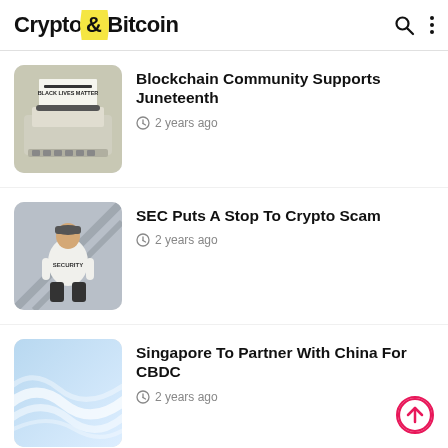Crypto&Bitcoin
[Figure (photo): Typewriter with paper showing 'BLACK LIVES MATTER' text typed on it]
Blockchain Community Supports Juneteenth
2 years ago
[Figure (photo): Person wearing a white shirt with 'SECURITY' printed on the back, standing on an escalator]
SEC Puts A Stop To Crypto Scam
2 years ago
[Figure (photo): Light blue abstract background with smooth white wave curves]
Singapore To Partner With China For CBDC
2 years ago